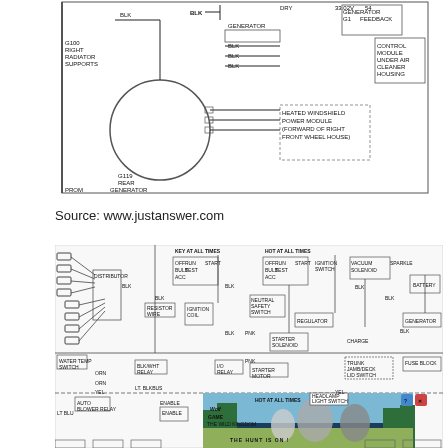[Figure (schematic): Automotive electrical wiring diagram showing generator, radiator supports, heated windshield power module, control module, cleaner housing, with wiring connections labeled BLK, DRY, and component identifiers G100, G119]
Source: www.justanswer.com
[Figure (schematic): Detailed automotive wiring diagram showing distributor, ignition coil, ignition switch, vacuum solenoid, regulator, starter solenoid, starter motor, battery, generator, fuse block, blower motor relay, and related components with wire color codes. Overlaid with a Wolf Game advertisement showing wolves with text 'THE HUNT IS ON!']